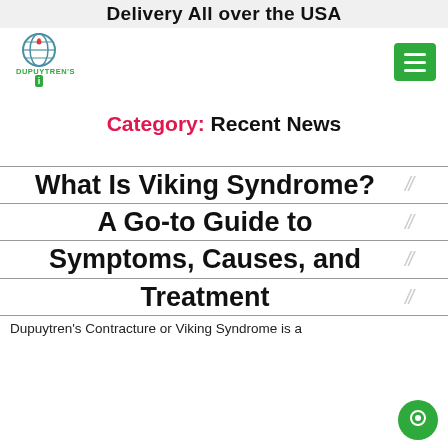Delivery All over the USA
[Figure (logo): Dupuytren's information site logo with circular globe icon and text DUPUYTREN'S with 'i' below]
What Is Viking Syndrome? A Go-to Guide to Symptoms, Causes, and Treatment
Category: Recent News
Dupuytren's Contracture or Viking Syndrome is a